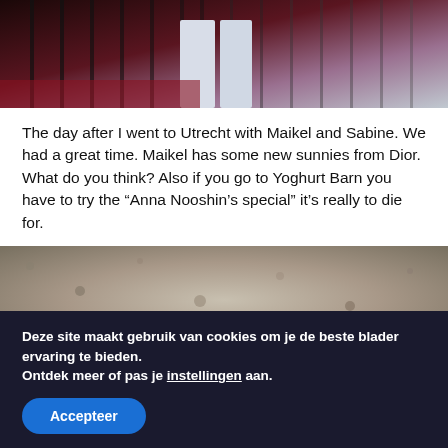[Figure (photo): Top portion of a photo showing a person in white jeans near metal fence/railing, with dark and reddish background]
The day after I went to Utrecht with Maikel and Sabine. We had a great time. Maikel has some new sunnies from Dior. What do you think? Also if you go to Yoghurt Barn you have to try the “Anna Nooshin’s special” it’s really to die for.
[Figure (photo): Bottom portion of a photo showing the top of a person's head with short blonde/brown hair against a stone/concrete wall texture background]
Deze site maakt gebruik van cookies om je de beste blader ervaring te bieden.
Ontdek meer of pas je instellingen aan.
Accepteer